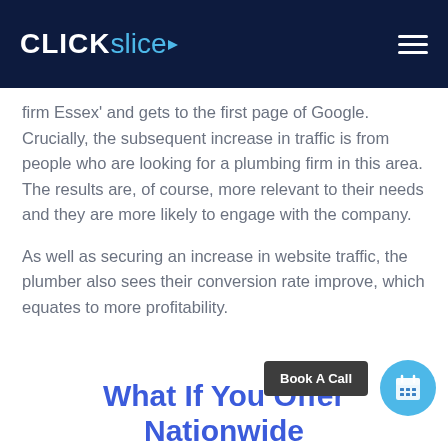CLICKslice
firm Essex' and gets to the first page of Google. Crucially, the subsequent increase in traffic is from people who are looking for a plumbing firm in this area. The results are, of course, more relevant to their needs and they are more likely to engage with the company.
As well as securing an increase in website traffic, the plumber also sees their conversion rate improve, which equates to more profitability.
What If You Offer Nationwide